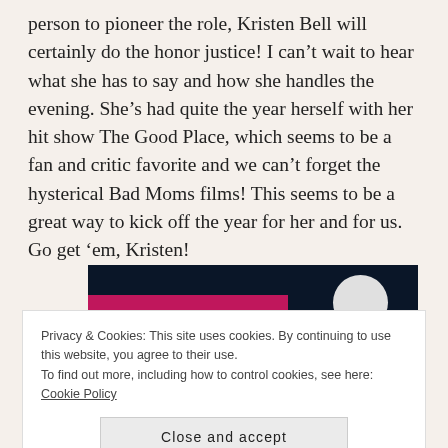person to pioneer the role, Kristen Bell will certainly do the honor justice! I can't wait to hear what she has to say and how she handles the evening. She's had quite the year herself with her hit show The Good Place, which seems to be a fan and critic favorite and we can't forget the hysterical Bad Moms films! This seems to be a great way to kick off the year for her and for us. Go get 'em, Kristen!
[Figure (photo): Partial view of a dark navy background image with a pink/magenta horizontal stripe and a light circular element on the right side]
Privacy & Cookies: This site uses cookies. By continuing to use this website, you agree to their use.
To find out more, including how to control cookies, see here: Cookie Policy
Close and accept